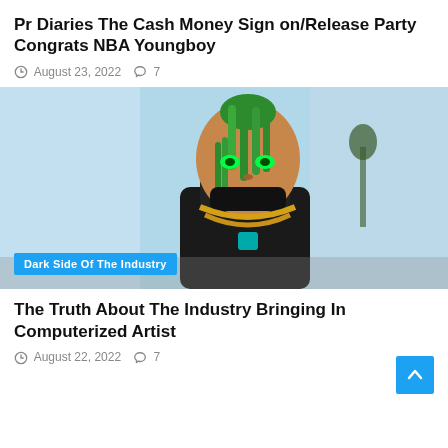Pr Diaries The Cash Money Sign on/Release Party Congrats NBA Youngboy
August 23, 2022  7
[Figure (photo): A 3D-rendered or digitally altered figure with green dreadlocks, glowing green eyes, tan skin, wearing a black hoodie with a large gold chain and a teal pendant. Background is a light blue sky and outdoor scene. A blue label tag reading 'Dark Side Of The Industry' overlays the bottom left of the image.]
The Truth About The Industry Bringing In Computerized Artist
August 22, 2022  7